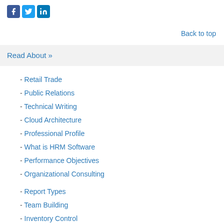[Figure (logo): Social media icons: Facebook (blue f), Twitter (blue bird), LinkedIn (blue in)]
Back to top
Read About »
- Retail Trade
- Public Relations
- Technical Writing
- Cloud Architecture
- Professional Profile
- What is HRM Software
- Performance Objectives
- Organizational Consulting
- Report Types
- Team Building
- Inventory Control
- Recruitment Model
- Virtual Communities